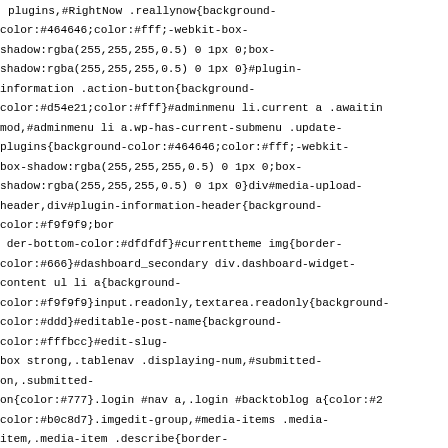plugins,#RightNow .reallynow{background-color:#464646;color:#fff;-webkit-box-shadow:rgba(255,255,255,0.5) 0 1px 0;box-shadow:rgba(255,255,255,0.5) 0 1px 0}#plugin-information .action-button{background-color:#d54e21;color:#fff}#adminmenu li.current a .awaitin mod,#adminmenu li a.wp-has-current-submenu .update-plugins{background-color:#464646;color:#fff;-webkit-box-shadow:rgba(255,255,255,0.5) 0 1px 0;box-shadow:rgba(255,255,255,0.5) 0 1px 0}div#media-upload-header,div#plugin-information-header{background-color:#f9f9f9;bor  der-bottom-color:#dfdfdf}#currenttheme img{border-color:#666}#dashboard_secondary div.dashboard-widget-content ul li a{background-color:#f9f9f9}input.readonly,textarea.readonly{background-color:#ddd}#editable-post-name{background-color:#fffbcc}#edit-slug-box strong,.tablenav .displaying-num,#submitted-on,.submitted-on{color:#777}.login #nav a,.login #backtoblog a{color:#2 color:#b0c8d7}.imgedit-group,#media-items .media-item,.media-item .describe{border-color:#dfdfdf}.checkbox,.side-info,.plugins tr,#your-profile #rich_editing{background-color:#fcfcfc}.plugins .inactive,.plugins .inactive th,.p update-tr .plugin-update{background-color:#f7fcfe}.plugin-update-tr .update-message{background-color:#fffbe4;border-color:#dfdfdf}.plugins .active,.plugins .active th,.plug